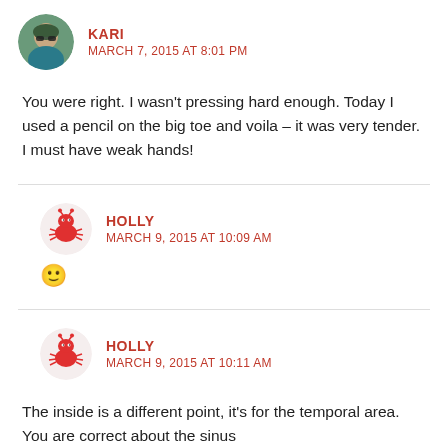[Figure (photo): Round avatar photo of Kari, a person wearing sunglasses outdoors]
KARI
MARCH 7, 2015 AT 8:01 PM
You were right. I wasn't pressing hard enough. Today I used a pencil on the big toe and voila – it was very tender. I must have weak hands!
[Figure (illustration): Round avatar of Holly, a cartoon crab/insect character in red]
HOLLY
MARCH 9, 2015 AT 10:09 AM
🙂
[Figure (illustration): Round avatar of Holly, a cartoon crab/insect character in red]
HOLLY
MARCH 9, 2015 AT 10:11 AM
The inside is a different point, it's for the temporal area. You are correct about the sinus